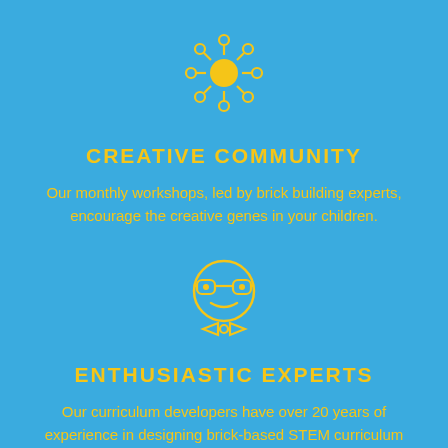[Figure (illustration): Yellow sun/community icon with circular dots arranged around a central circle, resembling people in a circle]
CREATIVE COMMUNITY
Our monthly workshops, led by brick building experts, encourage the creative genes in your children.
[Figure (illustration): Yellow nerd/expert smiley face icon with glasses and bow tie inside a circle outline]
ENTHUSIASTIC EXPERTS
Our curriculum developers have over 20 years of experience in designing brick-based STEM curriculum for kids.